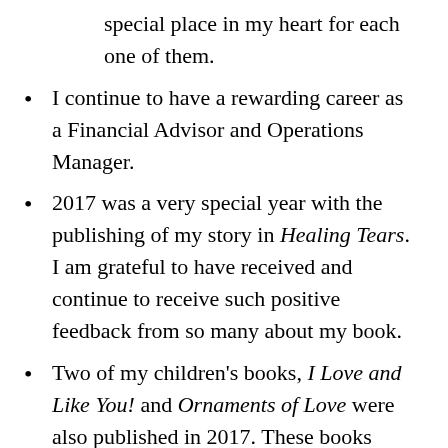special place in my heart for each one of them.
I continue to have a rewarding career as a Financial Advisor and Operations Manager.
2017 was a very special year with the publishing of my story in Healing Tears. I am grateful to have received and continue to receive such positive feedback from so many about my book.
Two of my children's books, I Love and Like You! and Ornaments of Love were also published in 2017. These books honored the lives of my boys, Jarod and Sean. Watching these stories come to life in the illustrations filled my heart with love from my children.
My newest children's book, Precious Time,